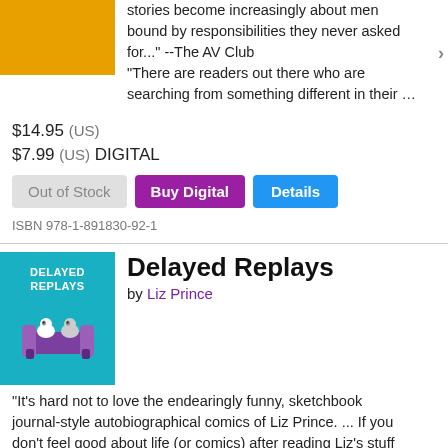stories become increasingly about men bound by responsibilities they never asked for..." --The AV Club
"There are readers out there who are searching from something different in their …
$14.95 (US)
$7.99 (US) DIGITAL
Out of Stock  Buy Digital  Details
ISBN 978-1-891830-92-1
[Figure (illustration): Book cover for Delayed Replays by Liz Prince, teal background with cartoon illustration of animals on a couch]
Delayed Replays
by Liz Prince
"It's hard not to love the endearingly funny, sketchbook journal-style autobiographical comics of Liz Prince. ... If you don't feel good about life (or comics) after reading Liz's stuff your heart is a black hole of weirdness." -- David Paggi & Kiel Phegley, Wizard's Indie Jones
DELAYED …
$7.99 (US)